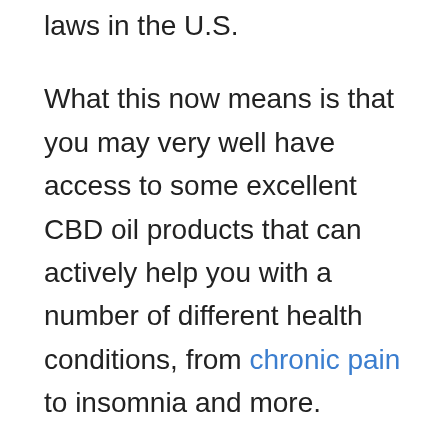laws in the U.S.
What this now means is that you may very well have access to some excellent CBD oil products that can actively help you with a number of different health conditions, from chronic pain to insomnia and more.
What this also means is that there are many different companies selling CBD oil both online and instore. This is excellent news for you as it gives you more options, but it's not so good if some of the companies aren't selling a quality product.
Let's give one of these companies a review and